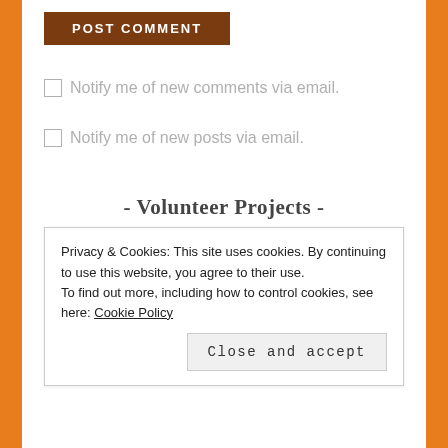POST COMMENT
Notify me of new comments via email.
Notify me of new posts via email.
- Volunteer Projects -
[Figure (illustration): Black silhouette of a shark fin shape]
Privacy & Cookies: This site uses cookies. By continuing to use this website, you agree to their use.
To find out more, including how to control cookies, see here: Cookie Policy
Close and accept